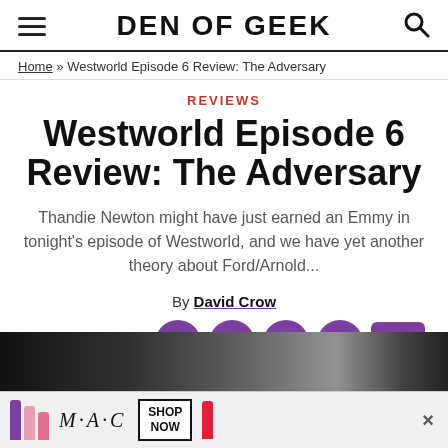DEN OF GEEK
Home » Westworld Episode 6 Review: The Adversary
REVIEWS
Westworld Episode 6 Review: The Adversary
Thandie Newton might have just earned an Emmy in tonight's episode of Westworld, and we have yet another theory about Ford/Arnold...
By David Crow
November 7, 2016
[Figure (other): Social sharing icons: Facebook, Twitter, Reddit, Email (purple circles) and comment count button showing 0]
[Figure (photo): Bottom portion of article page showing dark photo of people and MAC cosmetics advertisement banner at the bottom]
MAC advertisement: Shop Now